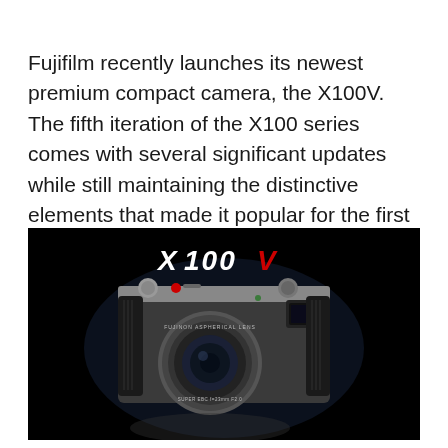Fujifilm recently launches its newest premium compact camera, the X100V. The fifth iteration of the X100 series comes with several significant updates while still maintaining the distinctive elements that made it popular for the first time.
[Figure (photo): Fujifilm X100V camera on black background with 'X100V' logo text in white and red at the top. The camera is a silver and black rangefinder-style compact camera shown from the front, with a prominent round lens labeled 'FUJINON ASPHERICAL LENS' and 'SUPER EBC f=23mm F2.0'. The camera features a viewfinder on the right, various controls on top, and a textured black grip.]